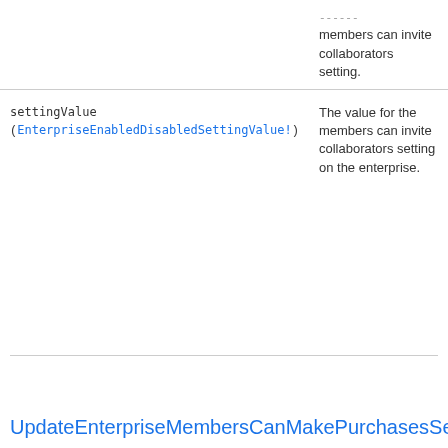|  |  |
| --- | --- |
|  | ...members can invite collaborators setting. |
| settingValue (EnterpriseEnabledDisabledSettingValue!) | The value for the members can invite collaborators setting on the enterprise. |
UpdateEnterpriseMembersCanMakePurchasesSettingInput